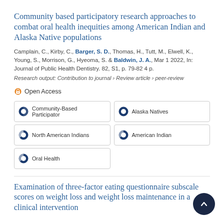Community based participatory research approaches to combat oral health inequities among American Indian and Alaska Native populations
Camplain, C., Kirby, C., Barger, S. D., Thomas, H., Tutt, M., Elwell, K., Young, S., Morrison, G., Hyeoma, S. & Baldwin, J. A., Mar 1 2022, In: Journal of Public Health Dentistry. 82, S1, p. 79-82 4 p.
Research output: Contribution to journal › Review article › peer-review
Open Access
Community-Based Participator
Alaska Natives
North American Indians
American Indian
Oral Health
Examination of three-factor eating questionnaire subscale scores on weight loss and weight loss maintenance in a clinical intervention